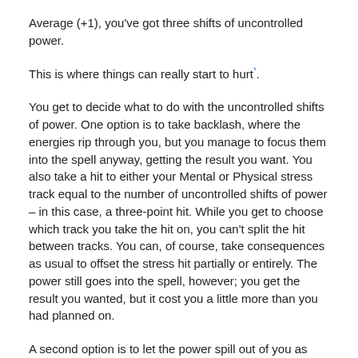Average (+1), you've got three shifts of uncontrolled power.
This is where things can really start to hurt*.
You get to decide what to do with the uncontrolled shifts of power. One option is to take backlash, where the energies rip through you, but you manage to focus them into the spell anyway, getting the result you want. You also take a hit to either your Mental or Physical stress track equal to the number of uncontrolled shifts of power – in this case, a three-point hit. While you get to choose which track you take the hit on, you can't split the hit between tracks. You can, of course, take consequences as usual to offset the stress hit partially or entirely. The power still goes into the spell, however; you get the result you wanted, but it cost you a little more than you had planned on.
A second option is to let the power spill out of you as fallout, running loose in the area around you, messing with your stuff. You take no damage*, but the environment isn't so lucky. What you're doing here is handing the uncontrolled shifts of power to your GM, making puppy-dog eyes, and racking your brain to try and remember if you've done anything especially upsetting to him or her recently. The GM gets to decide how to